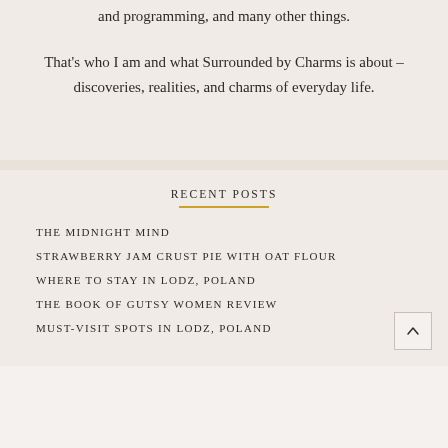and programming, and many other things.
That's who I am and what Surrounded by Charms is about - discoveries, realities, and charms of everyday life.
RECENT POSTS
THE MIDNIGHT MIND
STRAWBERRY JAM CRUST PIE WITH OAT FLOUR
WHERE TO STAY IN LODZ, POLAND
THE BOOK OF GUTSY WOMEN REVIEW
MUST-VISIT SPOTS IN LODZ, POLAND